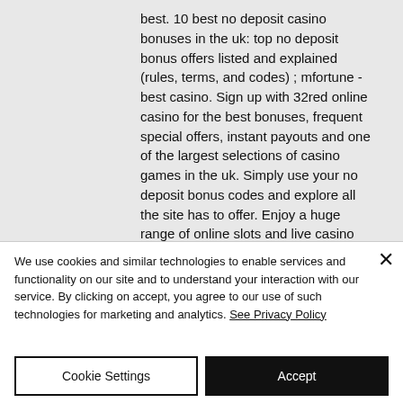best. 10 best no deposit casino bonuses in the uk: top no deposit bonus offers listed and explained (rules, terms, and codes) ; mfortune - best casino. Sign up with 32red online casino for the best bonuses, frequent special offers, instant payouts and one of the largest selections of casino games in the uk. Simply use your no deposit bonus codes and explore all the site has to offer. Enjoy a huge range of online slots and live casino &amp; get a £10 bonus completely free
We use cookies and similar technologies to enable services and functionality on our site and to understand your interaction with our service. By clicking on accept, you agree to our use of such technologies for marketing and analytics. See Privacy Policy
Cookie Settings
Accept